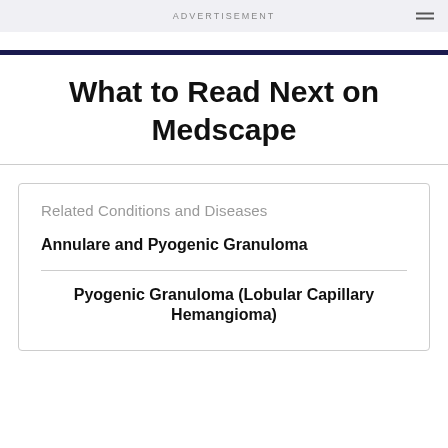ADVERTISEMENT
What to Read Next on Medscape
Related Conditions and Diseases
Annulare and Pyogenic Granuloma
Pyogenic Granuloma (Lobular Capillary Hemangioma)